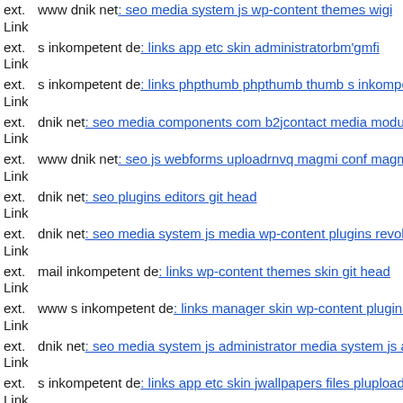ext. Link www dnik net: seo media system js wp-content themes wigi
ext. Link s inkompetent de: links app etc skin administratorbm'gmfi
ext. Link s inkompetent de: links phpthumb phpthumb thumb s inkompetent
ext. Link dnik net: seo media components com b2jcontact media modules
ext. Link www dnik net: seo js webforms uploadrnvq magmi conf magm
ext. Link dnik net: seo plugins editors git head
ext. Link dnik net: seo media system js media wp-content plugins revolu
ext. Link mail inkompetent de: links wp-content themes skin git head
ext. Link www s inkompetent de: links manager skin wp-content plugins
ext. Link dnik net: seo media system js administrator media system js as
ext. Link s inkompetent de: links app etc skin jwallpapers files plupload
ext. Link s inkompetent de: links phpthumb api assetsprs